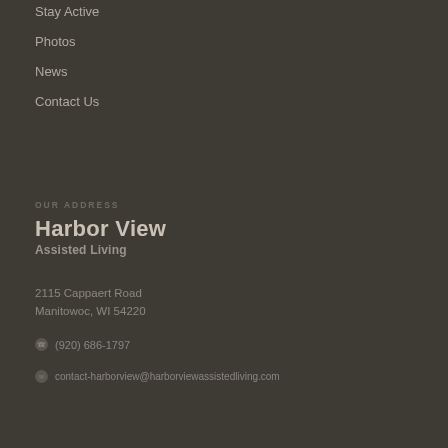Stay Active
Photos
News
Contact Us
OUR ADDRESS
Harbor View
Assisted Living
2115 Cappaert Road
Manitowoc, WI 54220
(920) 686-1797
contact-harborview@harborviewassistedliving.com